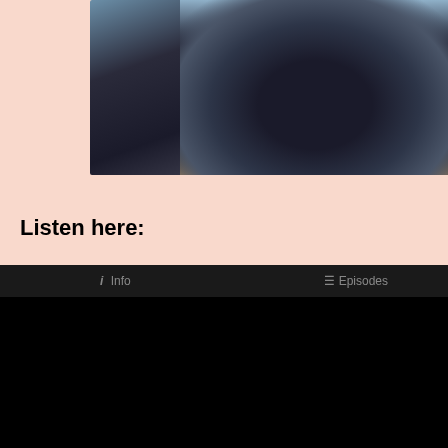[Figure (photo): A dark knitted hat or beanie with teal/blue patterned design, folded and placed on a light wooden surface. The garment appears to be black/dark navy with Fair Isle or Nordic style pattern.]
Listen here:
[Figure (screenshot): An embedded podcast player widget with black background. The top bar shows 'i Info' on the left and a list icon with 'Episodes' on the right. The main player area is entirely black/dark.]